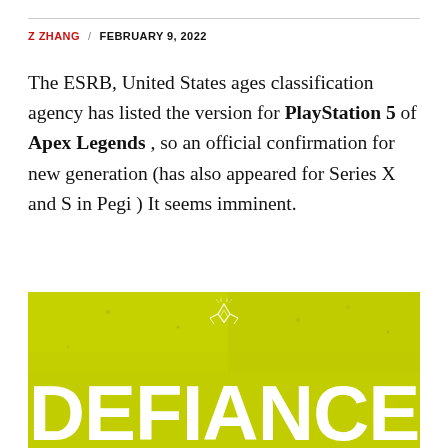Z ZHANG / FEBRUARY 9, 2022
The ESRB, United States ages classification agency has listed the version for PlayStation 5 of Apex Legends , so an official confirmation for new generation (has also appeared for Series X and S in Pegi ) It seems imminent.
[Figure (photo): Yellow-green promotional image for Apex Legends Defiance season, showing the word DEFIANCE in large white bold letters with a decorative Apex Legends logo/emblem above it on a textured yellow-green background.]